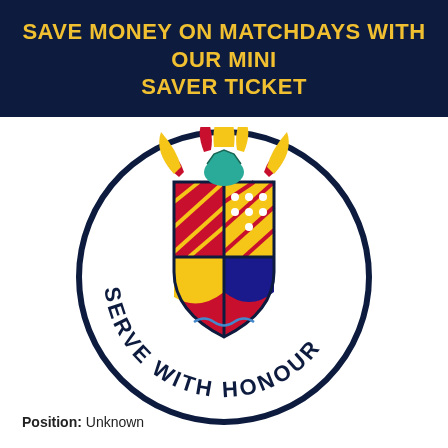SAVE MONEY ON MATCHDAYS WITH OUR MINI SAVER TICKET
[Figure (logo): Circular club crest/badge with a heraldic coat of arms in the center featuring red, yellow, blue and black quartered shield with supporters, crown and helmet at top. Around the circle in navy blue text: 'SERVE WITH HONOUR']
Position: Unknown